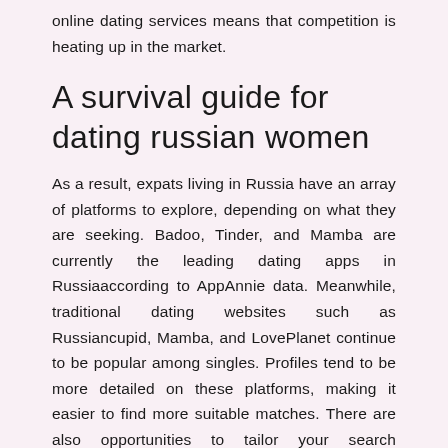online dating services means that competition is heating up in the market.
A survival guide for dating russian women
As a result, expats living in Russia have an array of platforms to explore, depending on what they are seeking. Badoo, Tinder, and Mamba are currently the leading dating apps in Russiaaccording to AppAnnie data. Meanwhile, traditional dating websites such as Russiancupid, Mamba, and LovePlanet continue to be popular among singles. Profiles tend to be more detailed on these platforms, making it easier to find more suitable matches. There are also opportunities to tailor your search depending on the seriousness of the relationship you are seeking.